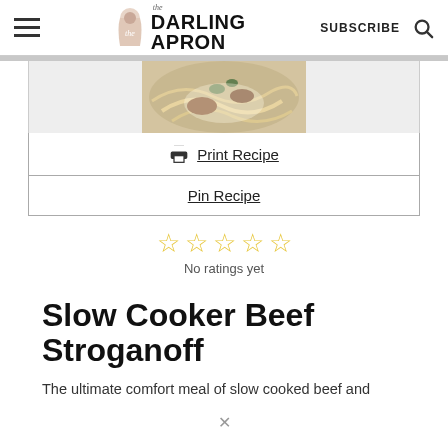THE DARLING APRON | SUBSCRIBE
[Figure (photo): Partial food photo showing slow cooker beef stroganoff dish from above]
🖨 Print Recipe
Pin Recipe
No ratings yet
Slow Cooker Beef Stroganoff
The ultimate comfort meal of slow cooked beef and